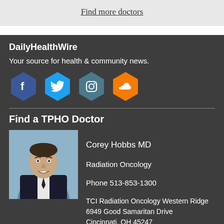Find more doctors
DailyHealthWire
Your source for health & community news.
[Figure (infographic): Four social media hexagon icons: Facebook (blue), Twitter (light blue), Instagram (teal), SoundCloud (orange)]
Find a TPHO Doctor
[Figure (photo): Headshot of Dr. Corey Hobbs MD, a young man in a suit and tie smiling]
Corey Hobbs MD
Radiation Oncology
Phone 513-853-1300

TCI Radiation Oncology Western Ridge
6949 Good Samaritan Drive
Cincinnati, OH 45247